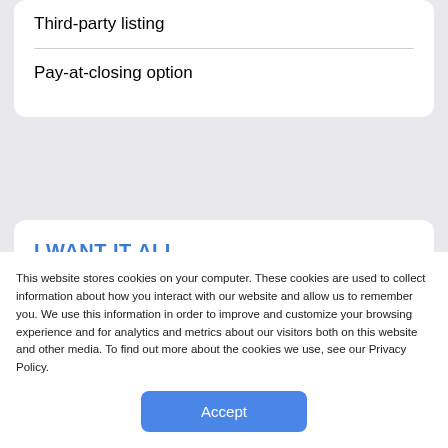Third-party listing
Pay-at-closing option
I WANT IT ALL
Time-Limited Events
This website stores cookies on your computer. These cookies are used to collect information about how you interact with our website and allow us to remember you. We use this information in order to improve and customize your browsing experience and for analytics and metrics about our visitors both on this website and other media. To find out more about the cookies we use, see our Privacy Policy.
Accept